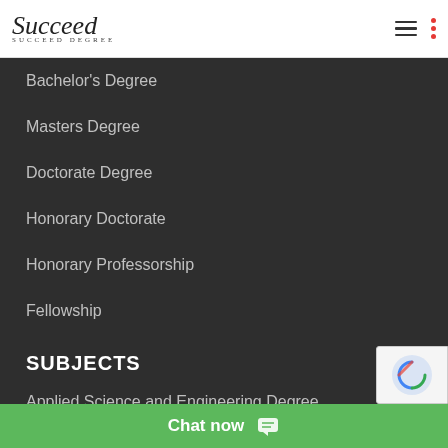[Figure (logo): Succeed Degree logo with script text and hamburger/dots menu icons]
Bachelor's Degree
Masters Degree
Doctorate Degree
Honorary Doctorate
Honorary Professorship
Fellowship
SUBJECTS
Applied Science and Engineering Degree
Arts and Humanities
Chat now